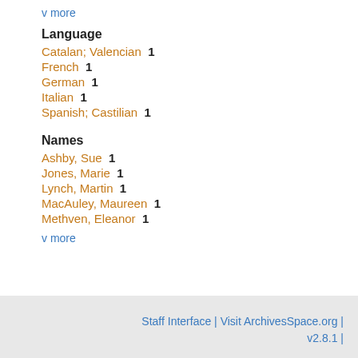v more
Language
Catalan; Valencian  1
French  1
German  1
Italian  1
Spanish; Castilian  1
Names
Ashby, Sue  1
Jones, Marie  1
Lynch, Martin  1
MacAuley, Maureen  1
Methven, Eleanor  1
v more
Staff Interface | Visit ArchivesSpace.org | v2.8.1 |